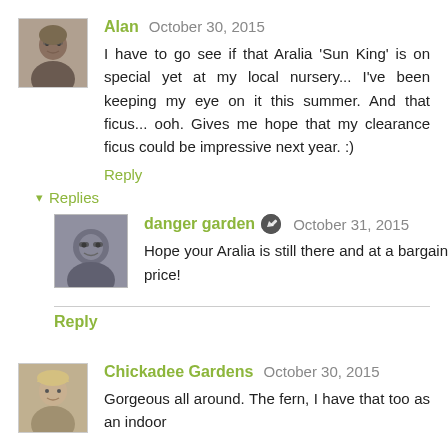[Figure (photo): Small avatar photo of Alan, a person with glasses]
Alan October 30, 2015
I have to go see if that Aralia 'Sun King' is on special yet at my local nursery... I've been keeping my eye on it this summer. And that ficus... ooh. Gives me hope that my clearance ficus could be impressive next year. :)
Reply
Replies
[Figure (photo): Small avatar photo of danger garden, showing a cat with glasses]
danger garden October 31, 2015
Hope your Aralia is still there and at a bargain price!
Reply
[Figure (photo): Small avatar photo of Chickadee Gardens, a person with blonde hair]
Chickadee Gardens October 30, 2015
Gorgeous all around. The fern, I have that too as an indoor